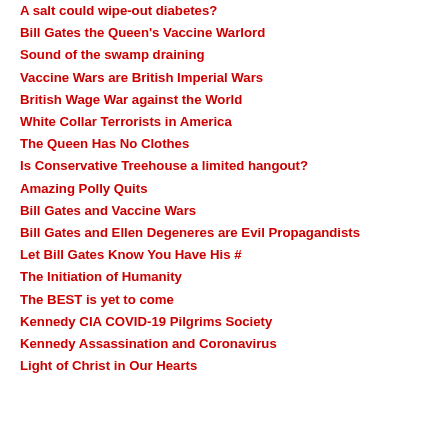A salt could wipe-out diabetes?
Bill Gates the Queen's Vaccine Warlord
Sound of the swamp draining
Vaccine Wars are British Imperial Wars
British Wage War against the World
White Collar Terrorists in America
The Queen Has No Clothes
Is Conservative Treehouse a limited hangout?
Amazing Polly Quits
Bill Gates and Vaccine Wars
Bill Gates and Ellen Degeneres are Evil Propagandists
Let Bill Gates Know You Have His #
The Initiation of Humanity
The BEST is yet to come
Kennedy CIA COVID-19 Pilgrims Society
Kennedy Assassination and Coronavirus
Light of Christ in Our Hearts